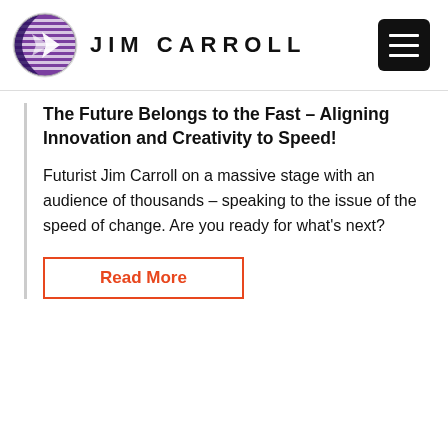JIM CARROLL
The Future Belongs to the Fast – Aligning Innovation and Creativity to Speed!
Futurist Jim Carroll on a massive stage with an audience of thousands – speaking to the issue of the speed of change. Are you ready for what's next?
Read More